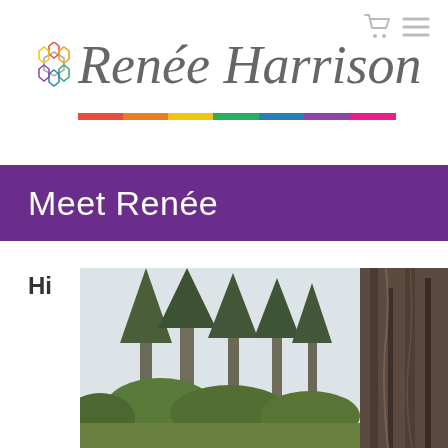[Figure (logo): Renée Harrison logo with colorful hexagon flower icon, script text 'Renée Harrison' in grey italic, and a rainbow-colored underline bar]
Meet Renée
Hi
[Figure (photo): Outdoor nature photo showing tall coniferous trees against a light sky on the left, and a close-up of rough dark tree bark on the right edge]